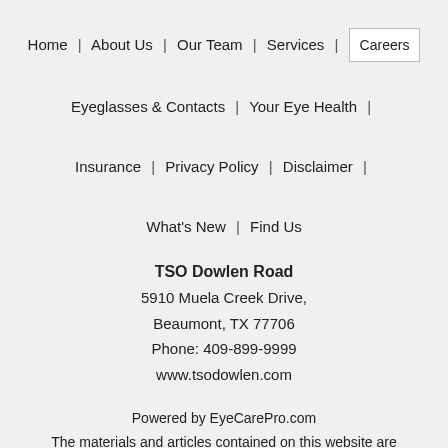Home | About Us | Our Team | Services | Careers | Eyeglasses & Contacts | Your Eye Health | Insurance | Privacy Policy | Disclaimer | What's New | Find Us
TSO Dowlen Road
5910 Muela Creek Drive,
Beaumont, TX 77706
Phone: 409-899-9999
www.tsodowlen.com
Powered by EyeCarePro.com
The materials and articles contained on this website are copyrighted and protected under Title 17 of the United States Code